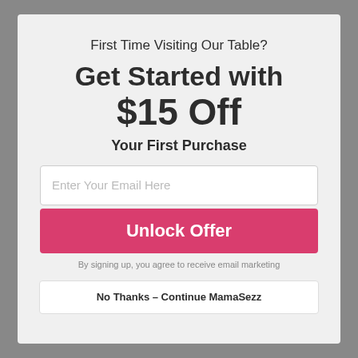First Time Visiting Our Table?
Get Started with $15 Off
Your First Purchase
Enter Your Email Here
Unlock Offer
By signing up, you agree to receive email marketing
No Thanks – Continue MamaSezz